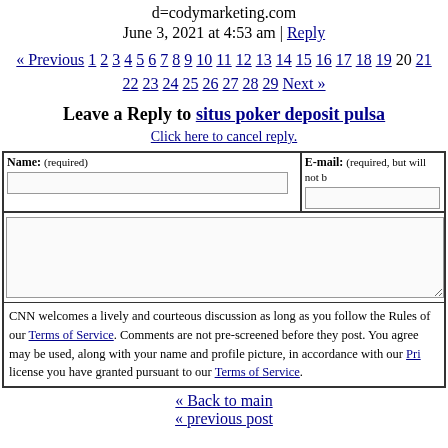d=codymarketing.com
June 3, 2021 at 4:53 am | Reply
« Previous 1 2 3 4 5 6 7 8 9 10 11 12 13 14 15 16 17 18 19 20 21 22 23 24 25 26 27 28 29 Next »
Leave a Reply to situs poker deposit pulsa
Click here to cancel reply.
Name: (required) | E-mail: (required, but will not be published)
CNN welcomes a lively and courteous discussion as long as you follow the Rules of Behavior listed in our Terms of Service. Comments are not pre-screened before they post. You agree that anything you post may be used, along with your name and profile picture, in accordance with our Privacy Policy and the license you have granted pursuant to our Terms of Service.
« Back to main
« previous post